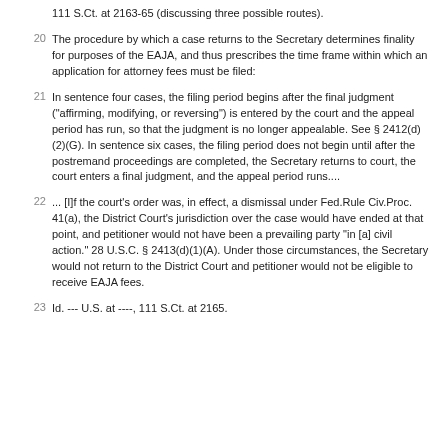111 S.Ct. at 2163-65 (discussing three possible routes).
20  The procedure by which a case returns to the Secretary determines finality for purposes of the EAJA, and thus prescribes the time frame within which an application for attorney fees must be filed:
21  In sentence four cases, the filing period begins after the final judgment ("affirming, modifying, or reversing") is entered by the court and the appeal period has run, so that the judgment is no longer appealable. See § 2412(d)(2)(G). In sentence six cases, the filing period does not begin until after the postremand proceedings are completed, the Secretary returns to court, the court enters a final judgment, and the appeal period runs....
22  ... [I]f the court's order was, in effect, a dismissal under Fed.Rule Civ.Proc. 41(a), the District Court's jurisdiction over the case would have ended at that point, and petitioner would not have been a prevailing party "in [a] civil action." 28 U.S.C. § 2413(d)(1)(A). Under those circumstances, the Secretary would not return to the District Court and petitioner would not be eligible to receive EAJA fees.
23  Id. --- U.S. at ----, 111 S.Ct. at 2165.